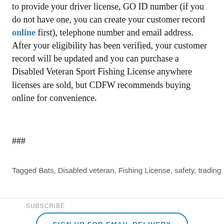to provide your driver license, GO ID number (if you do not have one, you can create your customer record online first), telephone number and email address. After your eligibility has been verified, your customer record will be updated and you can purchase a Disabled Veteran Sport Fishing License anywhere licenses are sold, but CDFW recommends buying online for convenience.
###
Tagged Bats, Disabled veteran, Fishing License, safety, trading
SUBSCRIBE
SIGN UP FOR EMAIL DELIVERY